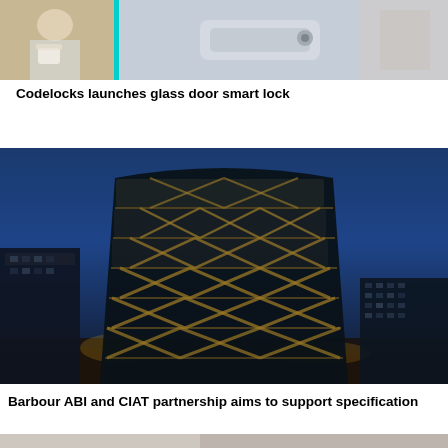[Figure (photo): Split image showing a person with a coffee cup on the left and a smart lock/door hardware close-up on the right, with a cyan vertical bar dividing the two images]
Codelocks launches glass door smart lock
[Figure (photo): Nighttime exterior photograph of a modern curved glass and steel commercial building illuminated with interior lights against a dark blue sky, with other buildings visible in the background]
Barbour ABI and CIAT partnership aims to support specification
[Figure (photo): Partial view of another article image, cropped at bottom of page]